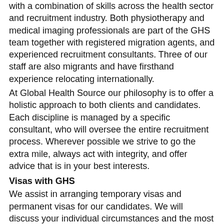with a combination of skills across the health sector and recruitment industry. Both physiotherapy and medical imaging professionals are part of the GHS team together with registered migration agents, and experienced recruitment consultants. Three of our staff are also migrants and have firsthand experience relocating internationally.
At Global Health Source our philosophy is to offer a holistic approach to both clients and candidates. Each discipline is managed by a specific consultant, who will oversee the entire recruitment process. Wherever possible we strive to go the extra mile, always act with integrity, and offer advice that is in your best interests.
Visas with GHS
We assist in arranging temporary visas and permanent visas for our candidates. We will discuss your individual circumstances and the most appropriate visa options available to suit you and your family. There is no consultancy fee for this service, just the cost of your visa application and incidentals. With Global Health Source, you may have a temporary visa to work in New Zealand within four weeks of lodgement, and some permanent categories can be approved in as little as three months. Age is not a barrier. Please don't be